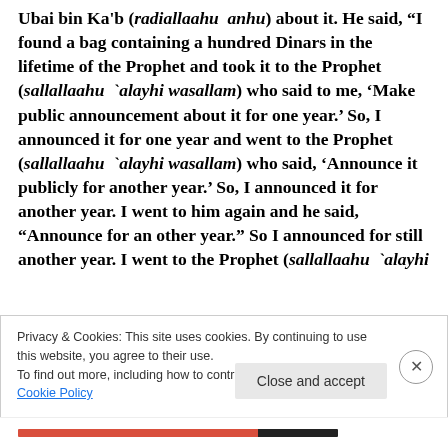Ubai bin Ka'b (radiallaahu anhu) about it. He said, "I found a bag containing a hundred Dinars in the lifetime of the Prophet and took it to the Prophet (sallallaahu `alayhi wasallam) who said to me, 'Make public announcement about it for one year.' So, I announced it for one year and went to the Prophet (sallallaahu `alayhi wasallam) who said, 'Announce it publicly for another year.' So, I announced it for another year. I went to him again and he said, "Announce for an other year." So I announced for still another year. I went to the Prophet (sallallaahu `alayhi
Privacy & Cookies: This site uses cookies. By continuing to use this website, you agree to their use.
To find out more, including how to control cookies, see here: Cookie Policy